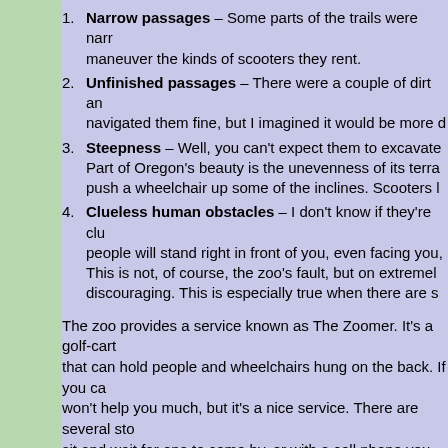Narrow passages – Some parts of the trails were narrow to maneuver the kinds of scooters they rent.
Unfinished passages – There were a couple of dirt and navigated them fine, but I imagined it would be more d
Steepness – Well, you can't expect them to excavate Part of Oregon's beauty is the unevenness of its terra push a wheelchair up some of the inclines. Scooters l
Clueless human obstacles – I don't know if they're clu people will stand right in front of you, even facing you, This is not, of course, the zoo's fault, but on extremel discouraging. This is especially true when there are s
The zoo provides a service known as The Zoomer. It's a golf-cart that can hold people and wheelchairs hung on the back. If you ca won't help you much, but it's a nice service. There are several st sit and wait for one to come by, or with a cell phone you can call map you get when you enter. They give people rides, no questio
The zoomer can go everywhere in the zoo. As I said, some of th personal mobility devices. If you are like me and can walk a little, areas where the zoomer can't go and then find yourself in pain a where the zoomer can reach you.
The Great Northwest